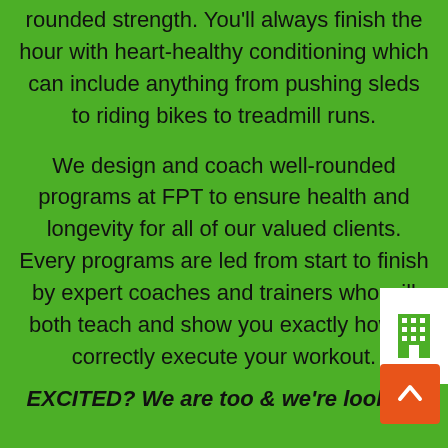rounded strength. You'll always finish the hour with heart-healthy conditioning which can include anything from pushing sleds to riding bikes to treadmill runs.
We design and coach well-rounded programs at FPT to ensure health and longevity for all of our valued clients. Every programs are led from start to finish by expert coaches and trainers who will both teach and show you exactly how to correctly execute your workout.
EXCITED? We are too & we're looking